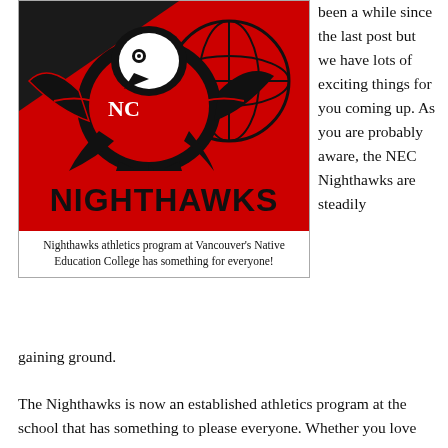[Figure (logo): Nighthawks athletics logo on red background with Indigenous-style eagle/hawk design and text NIGHTHAWKS in bold black lettering]
Nighthawks athletics program at Vancouver's Native Education College has something for everyone!
been a while since the last post but we have lots of exciting things for you coming up. As you are probably aware, the NEC Nighthawks are steadily gaining ground.
The Nighthawks is now an established athletics program at the school that has something to please everyone. Whether you love